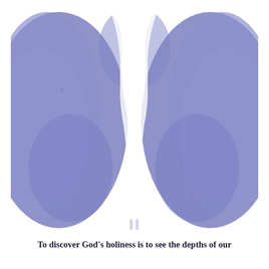[Figure (illustration): A watercolor-style illustration in blue/purple tones showing a large bird (dove) shape viewed from below, with wings spread wide. The body and tail feathers form a white negative space against the blue-purple wash background. The bird's feet/legs are visible at the bottom as small white shapes. The overall effect suggests a dove in flight seen from beneath.]
To discover God's holiness is to see the depths of our